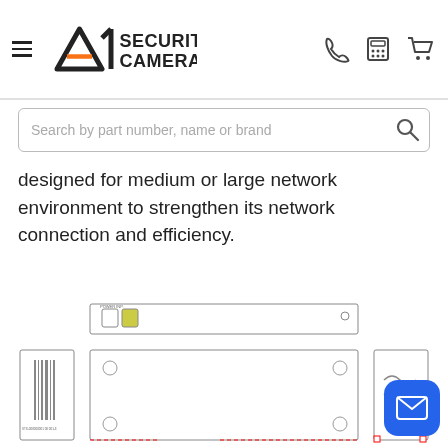A1 Security Cameras
designed for medium or large network environment to strengthen its network connection and efficiency.
[Figure (engineering-diagram): Technical engineering diagram of a network switch/device shown in three views: top view (rear panel with power connectors), front/top view (flat rectangular device with mounting holes and ventilation slots), and side view (showing cable/connector detail). The diagram appears to be a dimensioned schematic for a rack-mountable network device.]